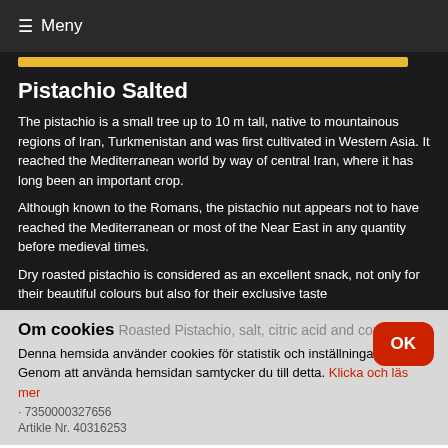≡ Meny
Pistachio Salted
The pistachio is a small tree up to 10 m tall, native to mountainous regions of Iran, Turkmenistan and was first cultivated in Western Asia. It reached the Mediterranean world by way of central Iran, where it has long been an important crop.
Although known to the Romans, the pistachio nut appears not to have reached the Mediterranean or most of the Near East in any quantity before medieval times.
Dry roasted pistachio is considered as an excellent snack, not only for their beautiful colours but also for their exclusive taste
Om cookies Roasted Pistachio, salt, citric acid and cornstar... OK
Denna hemsida använder cookies för statistik och inställningar.
Genom att använda hemsidan samtycker du till detta. Klicka och läs mer
· 7350000327656
Artikle Nr. 40316253